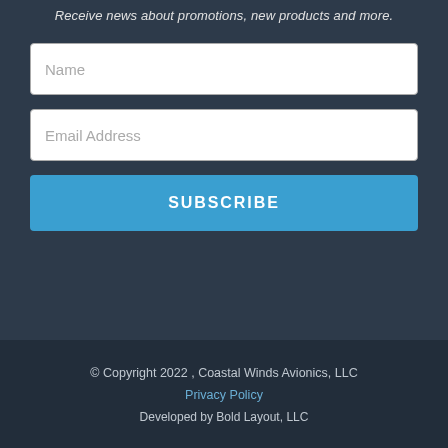Receive news about promotions, new products and more.
Name
Email Address
SUBSCRIBE
© Copyright 2022 , Coastal Winds Avionics, LLC
Privacy Policy
Developed by Bold Layout, LLC